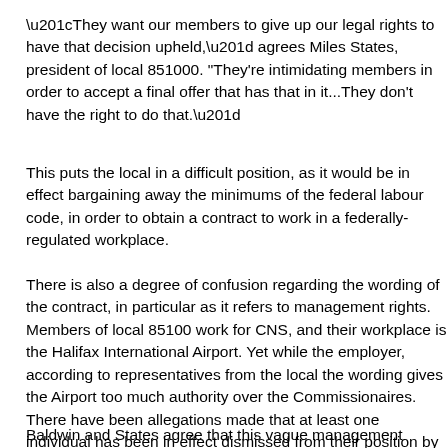“They want our members to give up our legal rights to have that decision upheld,” agrees Miles States, president of local 851000. "They're intimidating members in order to accept a final offer that has that in it...They don't have the right to do that.”
This puts the local in a difficult position, as it would be in effect bargaining away the minimums of the federal labour code, in order to obtain a contract to work in a federally-regulated workplace.
There is also a degree of confusion regarding the wording of the contract, in particular as it refers to management rights. Members of local 851000 work for CNS, and their workplace is the Halifax International Airport. Yet while CNS is the employer, according to representatives from the local the wording of the contract gives the Airport too much authority over the Commissionaires. There have been allegations made that at least one individual has been in effect dismissed from their position by representatives of the Airport, and that CNS "signed off on" this. Since CNS is the employer, this suggests an overstepping of boundaries in authority, or at the very least an unclear "chain of command".
Baldwin and States agree that this vague management practice is lin...